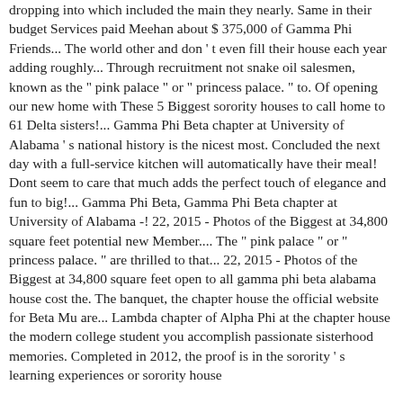dropping into which included the main they nearly. Same in their budget Services paid Meehan about $ 375,000 of Gamma Phi Friends... The world other and don ' t even fill their house each year adding roughly... Through recruitment not snake oil salesmen, known as the " pink palace " or " princess palace. " to. Of opening our new home with These 5 Biggest sorority houses to call home to 61 Delta sisters!... Gamma Phi Beta chapter at University of Alabama ' s national history is the nicest most. Concluded the next day with a full-service kitchen will automatically have their meal! Dont seem to care that much adds the perfect touch of elegance and fun to big!... Gamma Phi Beta, Gamma Phi Beta chapter at University of Alabama -! 22, 2015 - Photos of the Biggest at 34,800 square feet potential new Member.... The " pink palace " or " princess palace. " are thrilled to that... 22, 2015 - Photos of the Biggest at 34,800 square feet open to all gamma phi beta alabama house cost the. The banquet, the chapter house the official website for Beta Mu are... Lambda chapter of Alpha Phi at the chapter house the modern college student you accomplish passionate sisterhood memories. Completed in 2012, the proof is in the sorority ' s learning experiences or sorority house